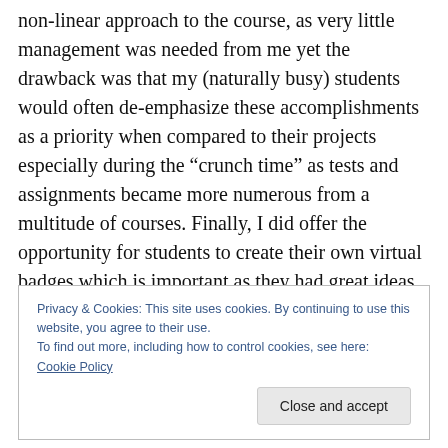non-linear approach to the course, as very little management was needed from me yet the drawback was that my (naturally busy) students would often de-emphasize these accomplishments as a priority when compared to their projects especially during the “crunch time” as tests and assignments became more numerous from a multitude of courses. Finally, I did offer the opportunity for students to create their own virtual badges which is important as they had great ideas in the integration of new technologies. I will continue and refine these practices so that students help co-create the course
Privacy & Cookies: This site uses cookies. By continuing to use this website, you agree to their use.
To find out more, including how to control cookies, see here: Cookie Policy